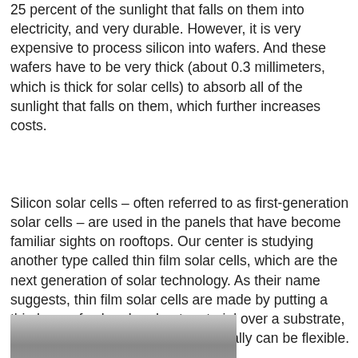25 percent of the sunlight that falls on them into electricity, and very durable. However, it is very expensive to process silicon into wafers. And these wafers have to be very thick (about 0.3 millimeters, which is thick for solar cells) to absorb all of the sunlight that falls on them, which further increases costs.
Silicon solar cells – often referred to as first-generation solar cells – are used in the panels that have become familiar sights on rooftops. Our center is studying another type called thin film solar cells, which are the next generation of solar technology. As their name suggests, thin film solar cells are made by putting a thin layer of solar absorbent material over a substrate, such as glass or plastic, which typically can be flexible.
[Figure (photo): Partial photograph visible at bottom of page, appears to show a solar panel or related material, gray tones.]